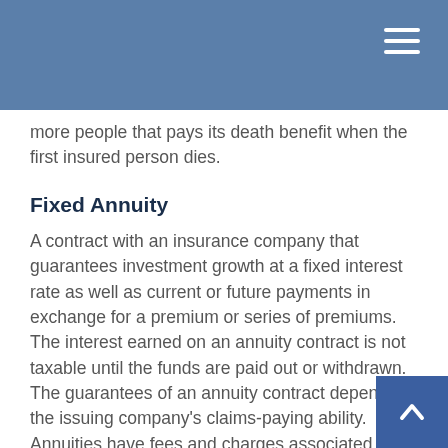more people that pays its death benefit when the first insured person dies.
Fixed Annuity
A contract with an insurance company that guarantees investment growth at a fixed interest rate as well as current or future payments in exchange for a premium or series of premiums. The interest earned on an annuity contract is not taxable until the funds are paid out or withdrawn. The guarantees of an annuity contract depend on the issuing company's claims-paying ability. Annuities have fees and charges associated with the contract, and a surrender charge also may apply if the contract owner elects to give up the annuity before certain time-period conditions are satisfied.